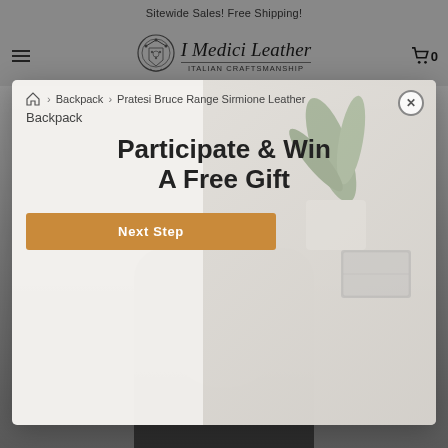Sitewide Sales! Free Shipping!
[Figure (logo): I Medici Leather - Italian Craftsmanship logo with emblem]
Backpack > Pratesi Bruce Range Sirmione Leather Backpack
Participate & Win A Free Gift
Next Step
[Figure (photo): Leather backpack product photo on grey background with plants and a grey wallet/purse]